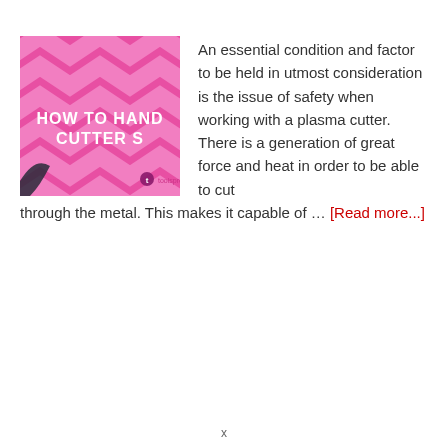[Figure (illustration): Pink chevron patterned image with bold white text reading 'HOW TO HAND CUTTER S' (partially cropped), with a small logo/icon at bottom right. Branded as toolsprofy.]
An essential condition and factor to be held in utmost consideration is the issue of safety when working with a plasma cutter. There is a generation of great force and heat in order to be able to cut through the metal. This makes it capable of … [Read more...]